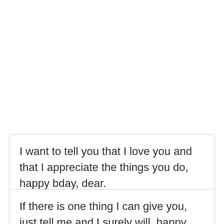I want to tell you that I love you and that I appreciate the things you do, happy bday, dear.
If there is one thing I can give you, just tell me and I surely will, happy birthday to